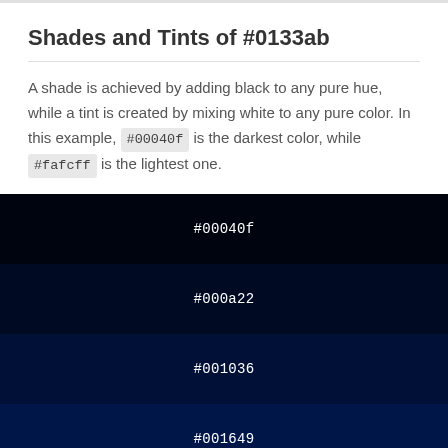Shades and Tints of #0133ab
A shade is achieved by adding black to any pure hue, while a tint is created by mixing white to any pure color. In this example, #00040f is the darkest color, while #fafcff is the lightest one.
[Figure (infographic): Color swatches showing shades of #0133ab from darkest to lightest: #00040f, #000a22, #001036, #001649, #011c5d]